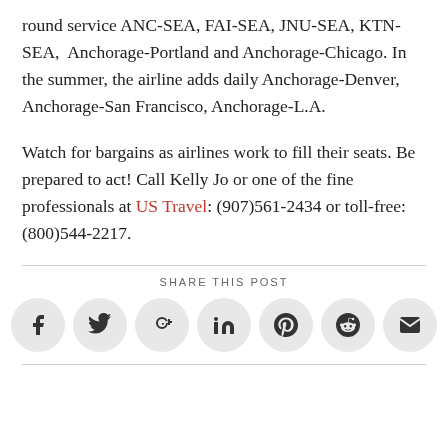round service ANC-SEA, FAI-SEA, JNU-SEA, KTN-SEA,  Anchorage-Portland and Anchorage-Chicago. In the summer, the airline adds daily Anchorage-Denver, Anchorage-San Francisco, Anchorage-L.A.
Watch for bargains as airlines work to fill their seats. Be prepared to act! Call Kelly Jo or one of the fine professionals at US Travel: (907)561-2434 or toll-free: (800)544-2217.
SHARE THIS POST